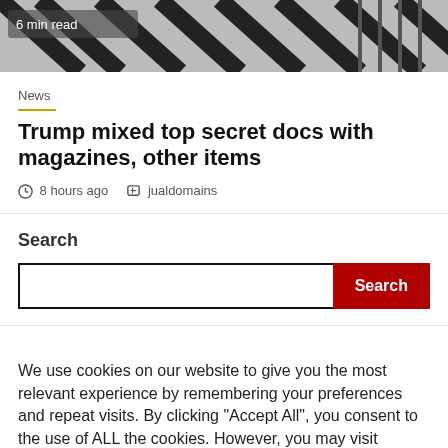[Figure (photo): Partially visible news article header image with black and white diagonal stripes/pattern, with a '6 min read' badge overlay in the top-left corner.]
News
Trump mixed top secret docs with magazines, other items
8 hours ago   jualdomains
Search
We use cookies on our website to give you the most relevant experience by remembering your preferences and repeat visits. By clicking "Accept All", you consent to the use of ALL the cookies. However, you may visit "Cookie Settings" to provide a controlled consent.